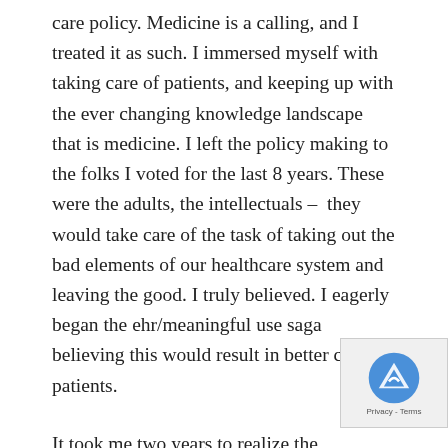care policy.  Medicine is a calling, and I treated it as such.  I immersed myself with taking care of patients, and keeping up with the ever changing knowledge landscape that is medicine. I left the policy making to the folks I voted for the last 8 years. These were the adults, the intellectuals –  they would take care of the task of taking out the bad elements of our healthcare system and leaving the good.  I truly believed.  I eagerly began the ehr/meaningful use saga believing this would result in better care for patients.
It took me two years to realize the meaninglessness of meaningful use.  I still can't believe how long it me to realize that creating a workflow in my offic…